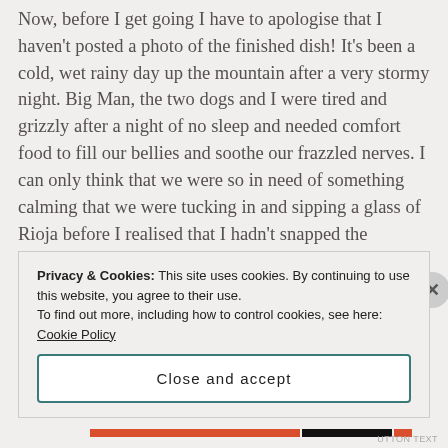Now, before I get going I have to apologise that I haven't posted a photo of the finished dish!  It's been a cold, wet rainy day up the mountain after a very stormy night.  Big Man, the two dogs and I were tired and grizzly after a night of no sleep and needed comfort food to fill our bellies and soothe our frazzled nerves.  I can only think that we were so in need of something calming that we were tucking in and sipping a glass of Rioja before I realised that I hadn't snapped the finished result.  Apologies, it was a delicious bowl of braised chicken, spring vegetables and steaming mashed potatoes.
Privacy & Cookies: This site uses cookies. By continuing to use this website, you agree to their use.
To find out more, including how to control cookies, see here: Cookie Policy
Close and accept